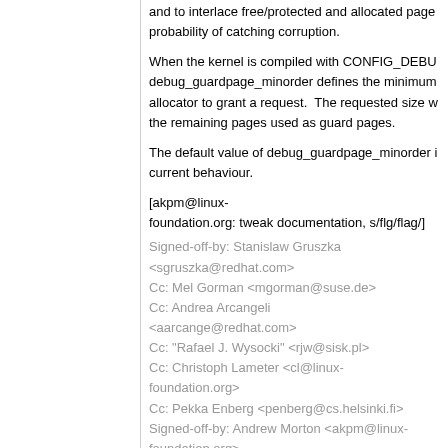and to interlace free/protected and allocated pages to increase probability of catching corruption.
When the kernel is compiled with CONFIG_DEBUG_PAGEALLOC, debug_guardpage_minorder defines the minimum order the allocator to grant a request. The requested size will be rounded up and the remaining pages used as guard pages.
The default value of debug_guardpage_minorder is 0, which preserves current behaviour.
[akpm@linux-foundation.org: tweak documentation, s/flg/flag/]
Signed-off-by: Stanislaw Gruszka <sgruszka@redhat.com>
Cc: Mel Gorman <mgorman@suse.de>
Cc: Andrea Arcangeli <aarcange@redhat.com>
Cc: "Rafael J. Wysocki" <rjw@sisk.pl>
Cc: Christoph Lameter <cl@linux-foundation.org>
Cc: Pekka Enberg <penberg@cs.helsinki.fi>
Signed-off-by: Andrew Morton <akpm@linux-foundation.org>
Signed-off-by: Linus Torvalds <torvalds@linux-foundation.org>
10 years ago
kernel.h: add BUILD_BUG() macro
commit | commitdiff | tree
David Daney [Tue, 10 Jan 2012 23:07:25